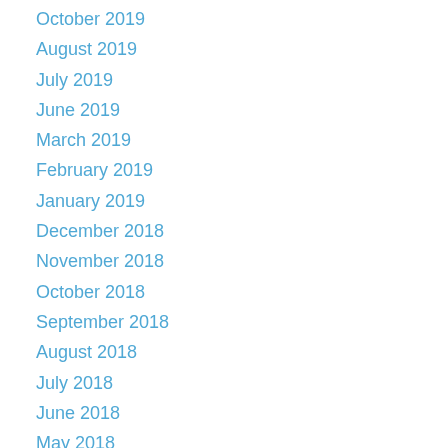October 2019
August 2019
July 2019
June 2019
March 2019
February 2019
January 2019
December 2018
November 2018
October 2018
September 2018
August 2018
July 2018
June 2018
May 2018
April 2018
March 2018
February 2018
January 2018
December 2017